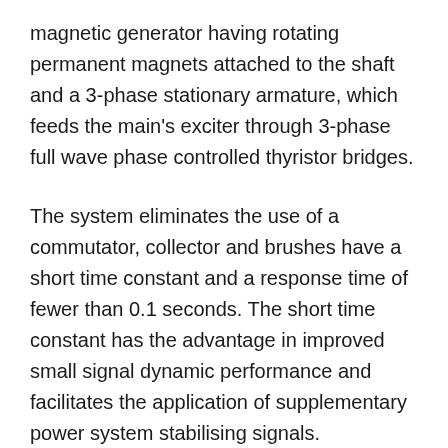magnetic generator having rotating permanent magnets attached to the shaft and a 3-phase stationary armature, which feeds the main's exciter through 3-phase full wave phase controlled thyristor bridges.
The system eliminates the use of a commutator, collector and brushes have a short time constant and a response time of fewer than 0.1 seconds. The short time constant has the advantage in improved small signal dynamic performance and facilitates the application of supplementary power system stabilising signals.